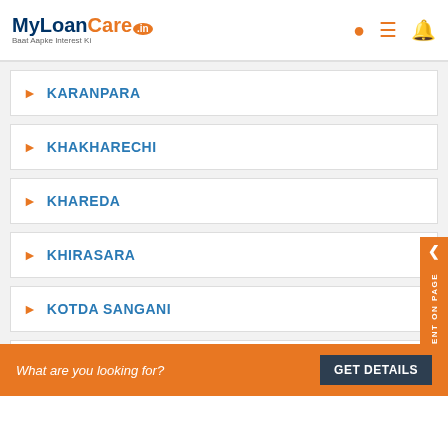MyLoanCare.in - Baat Aapke Interest Ki
KARANPARA
KHAKHARECHI
KHAREDA
KHIRASARA
KOTDA SANGANI
KOTHARIA ROAD
LAKHAJIRAJA ROAD
LALPAR
What are you looking for?
GET DETAILS